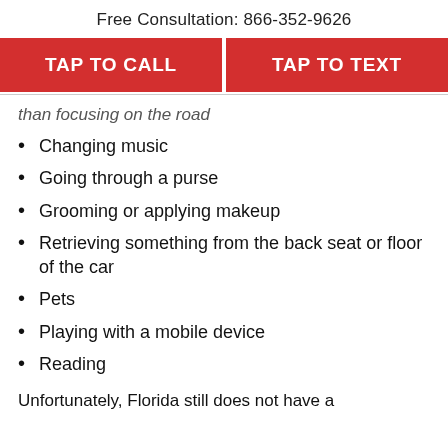Free Consultation: 866-352-9626
TAP TO CALL
TAP TO TEXT
than focusing on the road
Changing music
Going through a purse
Grooming or applying makeup
Retrieving something from the back seat or floor of the car
Pets
Playing with a mobile device
Reading
Unfortunately, Florida still does not have a